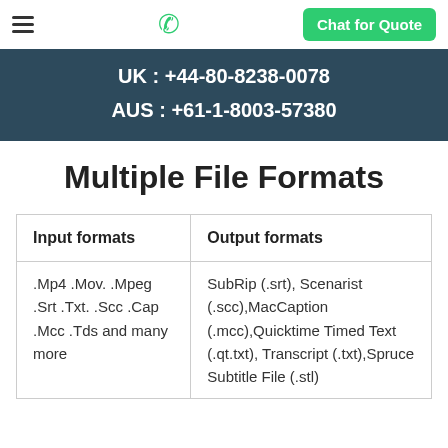UK : +44-80-8238-0078
AUS : +61-1-8003-57380
Multiple File Formats
| Input formats | Output formats |
| --- | --- |
| .Mp4 .Mov. .Mpeg .Srt .Txt. .Scc .Cap .Mcc .Tds and many more | SubRip (.srt), Scenarist (.scc),MacCaption (.mcc),Quicktime Timed Text (.qt.txt), Transcript (.txt),Spruce Subtitle File (.stl) |